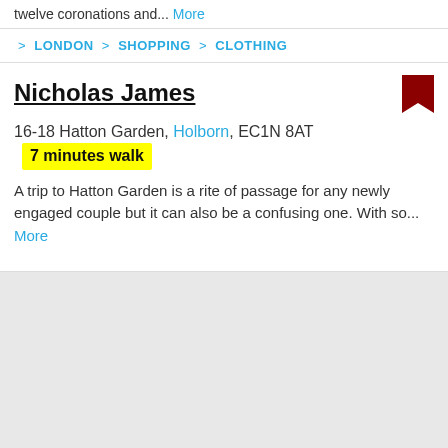twelve coronations and... More
> LONDON > SHOPPING > CLOTHING
Nicholas James
16-18 Hatton Garden, Holborn, EC1N 8AT  7 minutes walk
A trip to Hatton Garden is a rite of passage for any newly engaged couple but it can also be a confusing one. With so... More